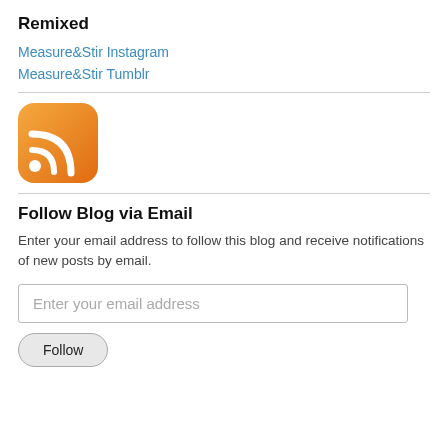Remixed
Measure&Stir Instagram
Measure&Stir Tumblr
[Figure (logo): RSS feed orange rounded square icon with white wifi/signal arcs and dot]
Follow Blog via Email
Enter your email address to follow this blog and receive notifications of new posts by email.
Enter your email address
Follow